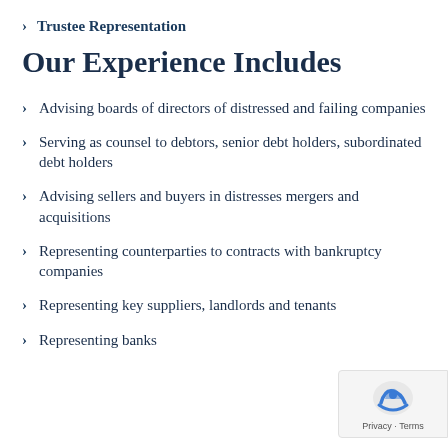Trustee Representation
Our Experience Includes
Advising boards of directors of distressed and failing companies
Serving as counsel to debtors, senior debt holders, subordinated debt holders
Advising sellers and buyers in distresses mergers and acquisitions
Representing counterparties to contracts with bankruptcy companies
Representing key suppliers, landlords and tenants
Representing banks